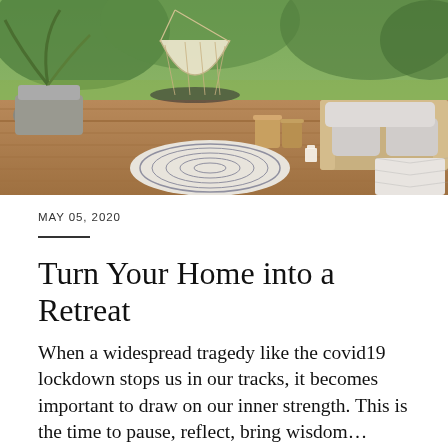[Figure (photo): Outdoor patio/deck scene with a hanging rope hammock chair, wicker sofa with grey cushions, woven baskets, a round mandala-patterned rug, a geometric patterned ottoman, candles, and tropical plants in a garden setting]
MAY 05, 2020
Turn Your Home into a Retreat
When a widespread tragedy like the covid19 lockdown stops us in our tracks, it becomes important to draw on our inner strength. This is the time to pause, reflect, bring wisdom…